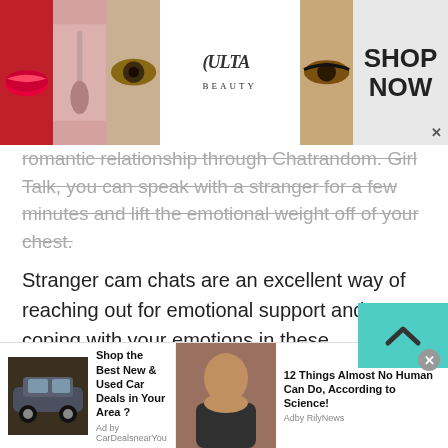[Figure (advertisement): ULTA Beauty advertisement banner with makeup images and SHOP NOW call to action]
romantic relationship through Chatrandom. Girl Talk, you can speak with a stranger for a few minutes and lift the emotional weight off of your chest.
Stranger cam chats are an excellent way of reaching out for emotional support and coping with your emotions in these troublesome times. Log onto Talkwithstranger today to meet a stranger and reduce your emotional burden.
The Chatrandom Feature For Chadian Girl Talk
[Figure (advertisement): Bottom ad bar with two ads: car deals and science article]
Shop the Best New & Used Car Deals in Your Area? Ad by CarDealsnearYou
12 Things Almost No Human Can Do, According to Science! Adby RilyNews